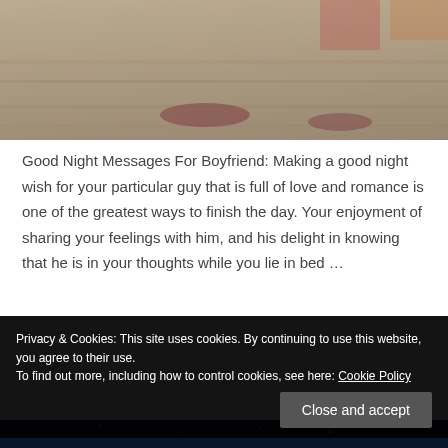[Figure (photo): Blurred outdoor photo showing a wooden floor/deck with colorful objects, warm toned lighting]
Good Night Messages For Boyfriend: Making a good night wish for your particular guy that is full of love and romance is one of the greatest ways to finish the day. Your enjoyment of sharing your feelings with him, and his delight in knowing that he is in your thoughts while you lie in bed …
Read More »
Privacy & Cookies: This site uses cookies. By continuing to use this website, you agree to their use.
To find out more, including how to control cookies, see here: Cookie Policy
Close and accept